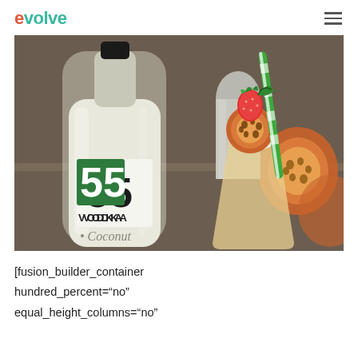evolve
[Figure (photo): A bottle of 55 Vodka Coconut next to a tall glass of orange cocktail garnished with a strawberry, passion fruit slice, and a green and white striped straw. Passion fruit halves visible in the background.]
[fusion_builder_container hundred_percent="no" equal_height_columns="no"